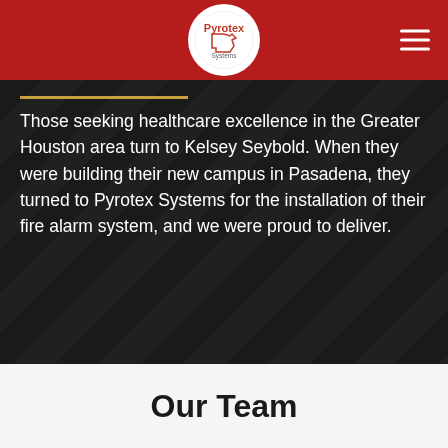Pyrotex Systems
Those seeking healthcare excellence in the Greater Houston area turn to Kelsey Seybold. When they were building their new campus in Pasadena, they turned to Pyrotex Systems for the installation of their fire alarm system, and we were proud to deliver.
Our Team